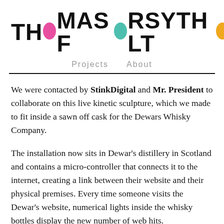THOMAS FORSYTH LTD
Projects   About
We were contacted by StinkDigital and Mr. President to collaborate on this live kinetic sculpture, which we made to fit inside a sawn off cask for the Dewars Whisky Company.
The installation now sits in Dewar's distillery in Scotland and contains a micro-controller that connects it to the internet, creating a link between their website and their physical premises. Every time someone visits the Dewar's website, numerical lights inside the whisky bottles display the new number of web hits.